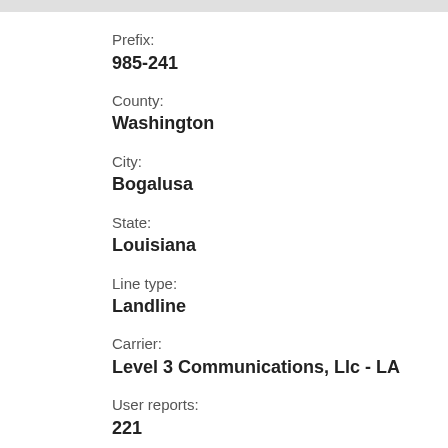Prefix:
985-241
County:
Washington
City:
Bogalusa
State:
Louisiana
Line type:
Landline
Carrier:
Level 3 Communications, Llc - LA
User reports:
221
Last report: